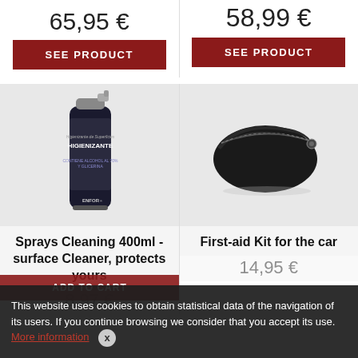65,95 €
SEE PRODUCT
58,99 €
SEE PRODUCT
[Figure (photo): Spray can with dark label reading HIGIENIZANTE, contains alcohol and glycerin, ENFOR brand]
[Figure (photo): Black leather first-aid / toiletry kit bag with zipper]
Sprays Cleaning 400ml - surface Cleaner, protects yours
First-aid Kit for the car
14,95 €
8,97 €
ADD TO CART
This website uses cookies to obtain statistical data of the navigation of its users. If you continue browsing we consider that you accept its use.
More information
x